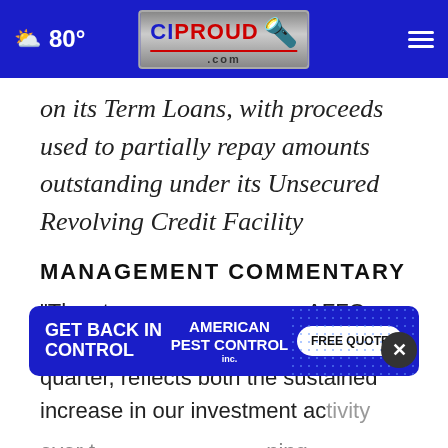CIProud.com — 80°
on its Term Loans, with proceeds used to partially repay amounts outstanding under its Unsecured Revolving Credit Facility
MANAGEMENT COMMENTARY
"The strong year-over-year AFFO growth we generated for the first quarter, reflects both the sustained increase in our investment activity over t[...] ning
[Figure (screenshot): American Pest Control advertisement banner: GET BACK IN CONTROL with FREE QUOTE button]